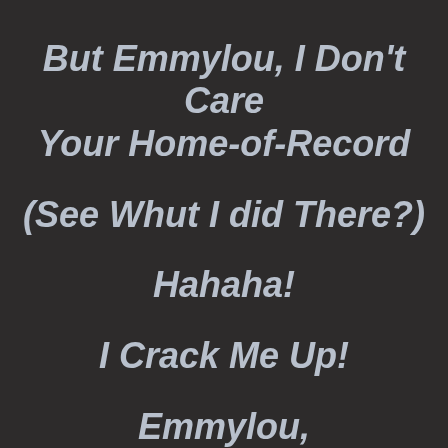But Emmylou, I Don't Care Your Home-of-Record
(See Whut I did There?)
Hahaha!
I Crack Me Up!
Emmylou,